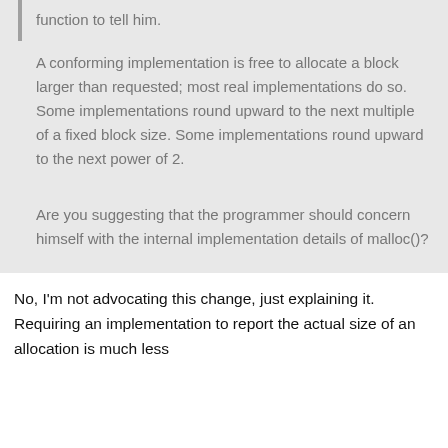function to tell him.
A conforming implementation is free to allocate a block larger than requested; most real implementations do so. Some implementations round upward to the next multiple of a fixed block size. Some implementations round upward to the next power of 2.
Are you suggesting that the programmer should concern himself with the internal implementation details of malloc()?
No, I'm not advocating this change, just explaining it. Requiring an implementation to report the actual size of an allocation is much less